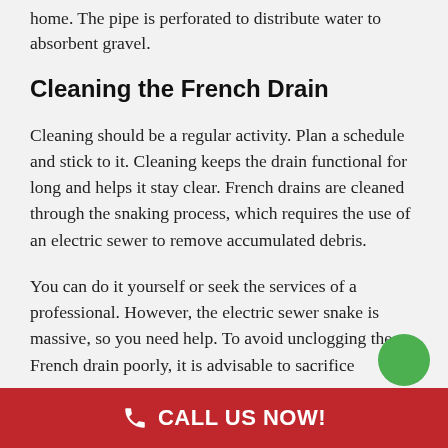home. The pipe is perforated to distribute water to absorbent gravel.
Cleaning the French Drain
Cleaning should be a regular activity. Plan a schedule and stick to it. Cleaning keeps the drain functional for long and helps it stay clear. French drains are cleaned through the snaking process, which requires the use of an electric sewer to remove accumulated debris.
You can do it yourself or seek the services of a professional. However, the electric sewer snake is massive, so you need help. To avoid unclogging the French drain poorly, it is advisable to sacrifice
CALL US NOW!